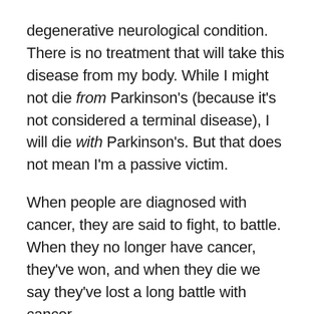degenerative neurological condition. There is no treatment that will take this disease from my body. While I might not die from Parkinson's (because it's not considered a terminal disease), I will die with Parkinson's. But that does not mean I'm a passive victim.
When people are diagnosed with cancer, they are said to fight, to battle. When they no longer have cancer, they've won, and when they die we say they've lost a long battle with cancer.
I'm a person living with Parkinson's. I fight every day, not to be cured (though that would be nice), but to live a life that's as fulfilling